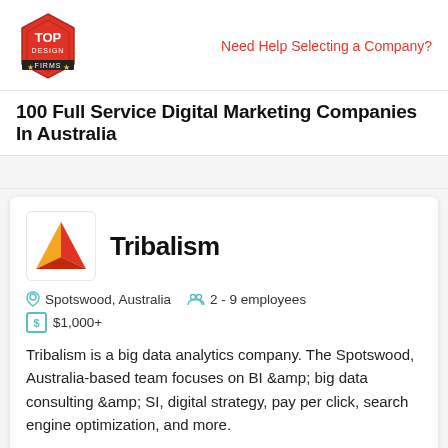Top Design Firms logo | Need Help Selecting a Company?
100 Full Service Digital Marketing Companies In Australia
[Figure (logo): Tribalism company logo: orange/red triangle letter A on white background]
Tribalism
Spotswood, Australia  2 - 9 employees  $1,000+
Tribalism is a big data analytics company. The Spotswood, Australia-based team focuses on BI &amp; big data consulting &amp; SI, digital strategy, pay per click, search engine optimization, and more.
SERVICES